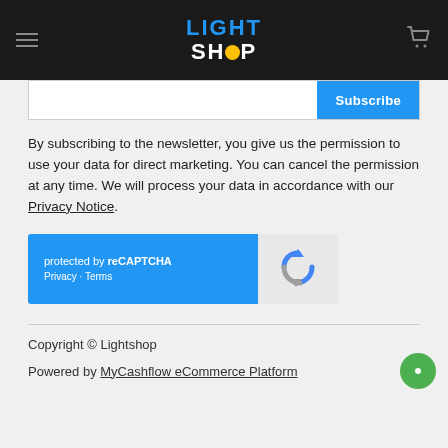LIGHT SHOP
[Figure (screenshot): Subscribe input bar with blue Subscribe button]
By subscribing to the newsletter, you give us the permission to use your data for direct marketing. You can cancel the permission at any time. We will process your data in accordance with our Privacy Notice.
[Figure (other): reCAPTCHA widget with blue left panel showing 'protected by reCAPTCHA' and Privacy / Terms links, and grey right panel with reCAPTCHA logo]
Copyright © Lightshop
Powered by MyCashflow eCommerce Platform